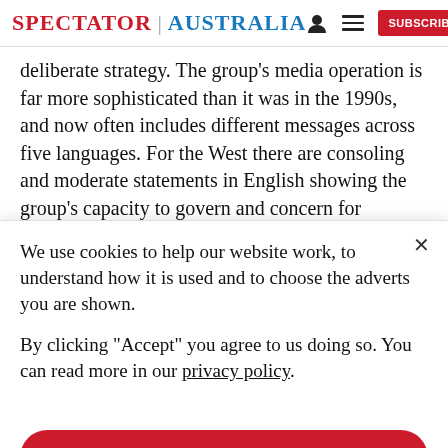SPECTATOR | AUSTRALIA
deliberate strategy. The group’s media operation is far more sophisticated than it was in the 1990s, and now often includes different messages across five languages. For the West there are consoling and moderate statements in English showing the group’s capacity to govern and concern for women; lines on strong military
We use cookies to help our website work, to understand how it is used and to choose the adverts you are shown.

By clicking "Accept" you agree to us doing so. You can read more in our privacy policy.
Accept